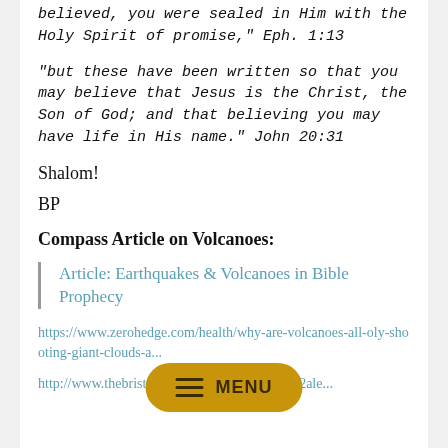believed, you were sealed in Him with the Holy Spirit of promise," Eph. 1:13
"but these have been written so that you may believe that Jesus is the Christ, the Son of God; and that believing you may have life in His name." John 20:31
Shalom!
BP
Compass Article on Volcanoes:
Article: Earthquakes & Volcanoes in Bible Prophecy
https://www.zerohedge.com/health/why-are-volcanoes-all-o...ly-shooting-giant-clouds-a...
http://www.thebristolbaytimes.com/article/2002ale...